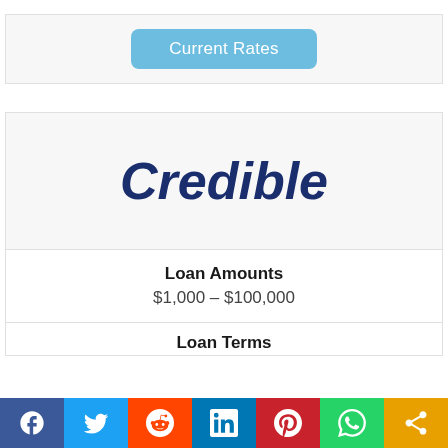[Figure (other): Current Rates button, light blue rounded rectangle]
Credible
Loan Amounts
$1,000 – $100,000
Loan Terms
[Figure (other): Social media sharing bar with Facebook, Twitter, Reddit, LinkedIn, Pinterest, WhatsApp, and Share buttons]